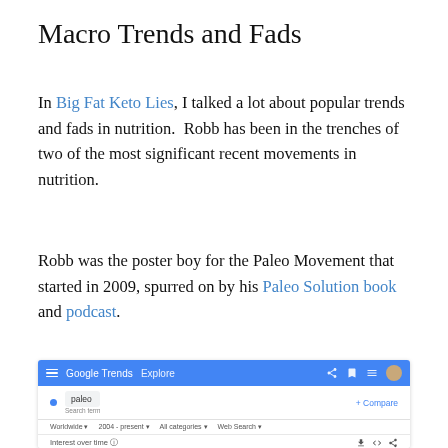Macro Trends and Fads
In Big Fat Keto Lies, I talked a lot about popular trends and fads in nutrition.  Robb has been in the trenches of two of the most significant recent movements in nutrition.
Robb was the poster boy for the Paleo Movement that started in 2009, spurred on by his Paleo Solution book and podcast.
[Figure (screenshot): Screenshot of Google Trends Explore page showing a search for 'paleo' as a search term, with filters for Worldwide, 2004-present, All categories, Web Search, and an 'Interest over time' section at the bottom.]